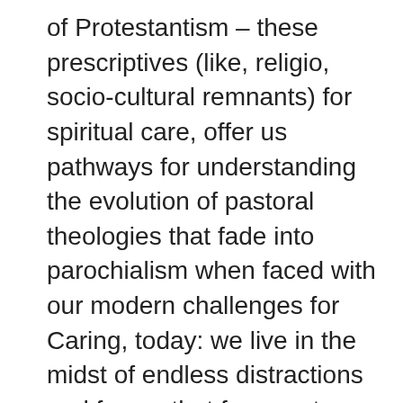of Protestantism – these prescriptives (like, religio, socio-cultural remnants) for spiritual care, offer us pathways for understanding the evolution of pastoral theologies that fade into parochialism when faced with our modern challenges for Caring, today: we live in the midst of endless distractions and forces that fragment ourSelves daily as we seek to live between the many and often conflicting compartments of our own lives. These wonderfully rendered theologies for Care (given to us through history) don't work in our vocational spaces today.¹ Anton Boisen, as we know, was the great Reformer of these former dispensations for